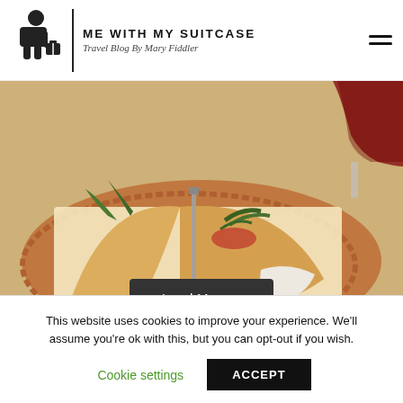[Figure (logo): Me With My Suitcase travel blog logo with silhouette of traveler, vertical divider, site name and tagline]
[Figure (photo): Flatbread/calzone sandwich cut in half on a decorative plate with a glass of red wine, restaurant food photo]
Load More...
This website uses cookies to improve your experience. We'll assume you're ok with this, but you can opt-out if you wish.
Cookie settings
ACCEPT